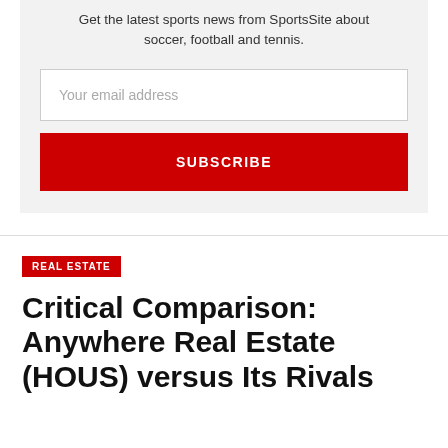Get the latest sports news from SportsSite about soccer, football and tennis.
Your email address
SUBSCRIBE
REAL ESTATE
Critical Comparison: Anywhere Real Estate (HOUS) versus Its Rivals